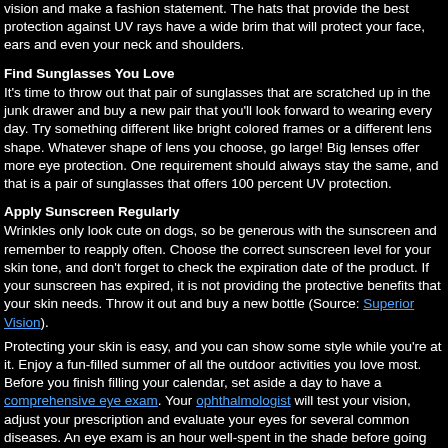vision and make a fashion statement. The hats that provide the best protection against UV rays have a wide brim that will protect your face, ears and even your neck and shoulders.
Find Sunglasses You Love
It's time to throw out that pair of sunglasses that are scratched up in the junk drawer and buy a new pair that you'll look forward to wearing every day. Try something different like bright colored frames or a different lens shape. Whatever shape of lens you choose, go large! Big lenses offer more eye protection. One requirement should always stay the same, and that is a pair of sunglasses that offers 100 percent UV protection.
Apply Sunscreen Regularly
Wrinkles only look cute on dogs, so be generous with the sunscreen and remember to reapply often. Choose the correct sunscreen level for your skin tone, and don't forget to check the expiration date of the product. If your sunscreen has expired, it is not providing the protective benefits that your skin needs. Throw it out and buy a new bottle (Source: Superior Vision).
Protecting your skin is easy, and you can show some style while you're at it. Enjoy a fun-filled summer of all the outdoor activities you love most. Before you finish filling your calendar, set aside a day to have a comprehensive eye exam. Your ophthalmologist will test your vision, adjust your prescription and evaluate your eyes for several common diseases. An eye exam is an hour well-spent in the shade before going back out to play!
Previous StoryNext Story